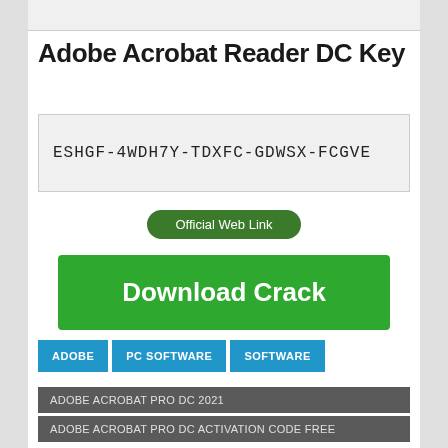[Figure (screenshot): Top gray bar at the top of the page]
Adobe Acrobat Reader DC Key
ESHGF-4WDH7Y-TDXFC-GDWSX-FCGVE
[Figure (other): Official Web Link green rounded button]
[Figure (other): Download Crack green button]
ADOBE
PC SOFTWARE
SOFTWARE
ADOBE ACROBAT PRO DC 2021
ADOBE ACROBAT PRO DC ACTIVATION CODE FREE